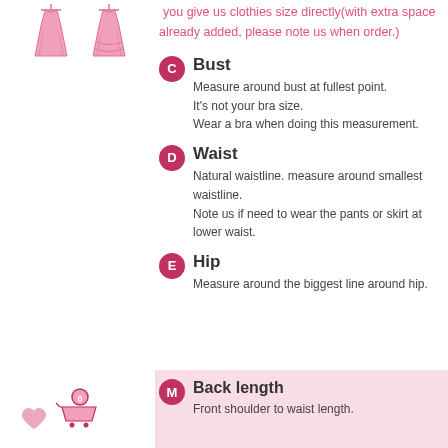[Figure (illustration): Two pink dress/gown silhouette icons side by side]
you give us clothies size directly(with extra space already added, please note us when order.)
C  Bust
Measure around bust at fullest point.
It's not your bra size.
Wear a bra when doing this measurement.
D  Waist
Natural waistline. measure around smallest waistline.
Note us if need to wear the pants or skirt at lower waist.
E  Hip
Measure around the biggest line around hip.
M  Back length
Front shoulder to waist length.